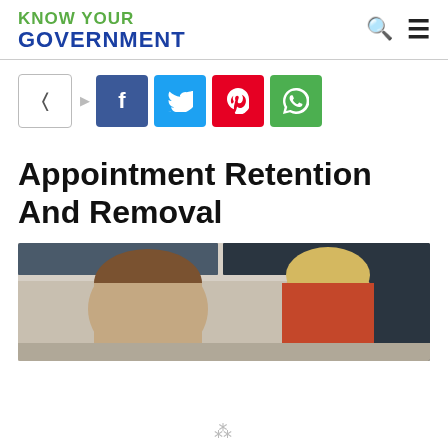KNOW YOUR GOVERNMENT
[Figure (screenshot): Social share bar with share icon, Facebook, Twitter, Pinterest, and WhatsApp buttons]
Appointment Retention And Removal
[Figure (photo): Two people in an office or classroom setting, one with brown hair viewed from behind, one with blond hair in a red shirt]